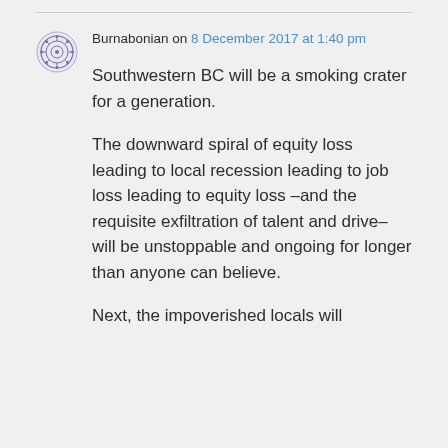Burnabonian on 8 December 2017 at 1:40 pm
Southwestern BC will be a smoking crater for a generation.
The downward spiral of equity loss leading to local recession leading to job loss leading to equity loss –and the requisite exfiltration of talent and drive– will be unstoppable and ongoing for longer than anyone can believe.
Next, the impoverished locals will